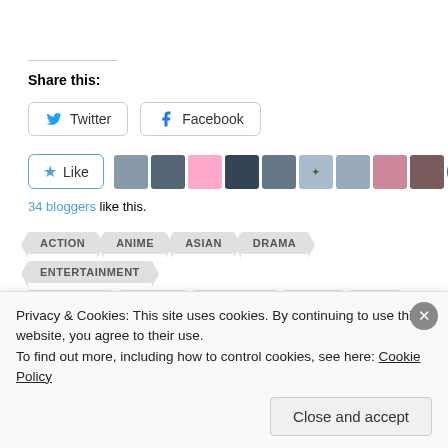Share this:
Twitter
Facebook
34 bloggers like this.
ACTION
ANIME
ASIAN
DRAMA
ENTERTAINMENT
MACROSS
MECHA
ROMANCE
SCI-FI
WAR
Privacy & Cookies: This site uses cookies. By continuing to use this website, you agree to their use.
To find out more, including how to control cookies, see here: Cookie Policy
Close and accept